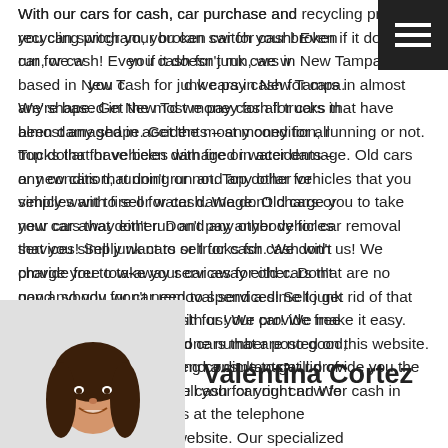With our cars for cash, car purchase and recycling program, you can switch your broken car for cash! Even if it doesn't run, we will pay you cash for junk cars in New Tampa. We're based in New Tampa and we pay cash for cars in almost any shape. Get the most money for all trucks that have been damaged in accidents – any condition, running or not. Top dollar for vehicles with fire or water damage. Old cars or new cars that don't run and any other vehicles that you simply want to sell for cash. We don't charge you to take your car away either. Don't pay anybody for car removal services! Sell junk cars or trucks for cash with us! We provide free tow-away services for old cars that are no good, so you won't need to spend a dime to get rid of that old auto; we pay you cash for your car! We make it easy. Just call us at the telephone number posted on this website. Our specialized car buying consultants will provide you the best quote so you can sell your car right now for cash in New Tampa.
[Figure (photo): Photo of a young woman with brown hair, smiling, wearing a red top]
Valentina Cortez